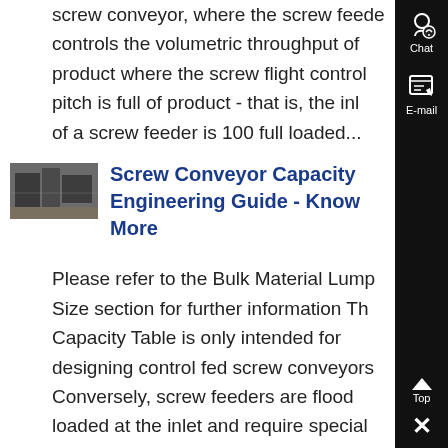screw conveyor, where the screw feeder controls the volumetric throughput of product where the screw flight control pitch is full of product - that is, the inlet of a screw feeder is 100 full loaded...
[Figure (photo): Thumbnail photo of industrial screw conveyor equipment]
Screw Conveyor Capacity Engineering Guide - Know More
Please refer to the Bulk Material Lump Size section for further information The Capacity Table is only intended for designing control fed screw conveyors. Conversely, screw feeders are flood loaded at the inlet and require special